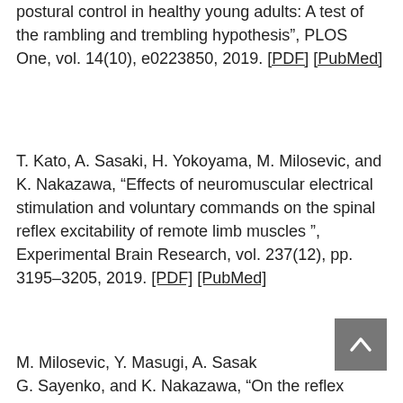postural control in healthy young adults: A test of the rambling and trembling hypothesis", PLOS One, vol. 14(10), e0223850, 2019. [PDF] [PubMed]
T. Kato, A. Sasaki, H. Yokoyama, M. Milosevic, and K. Nakazawa, “Effects of neuromuscular electrical stimulation and voluntary commands on the spinal reflex excitability of remote limb muscles ”, Experimental Brain Research, vol. 237(12), pp. 3195–3205, 2019. [PDF] [PubMed]
M. Milosevic, Y. Masugi, A. Sasaki, G. Sayenko, and K. Nakazawa, “On the reflex mechanisms of cervical transcutaneous spinal cord stimulation in human subjects",